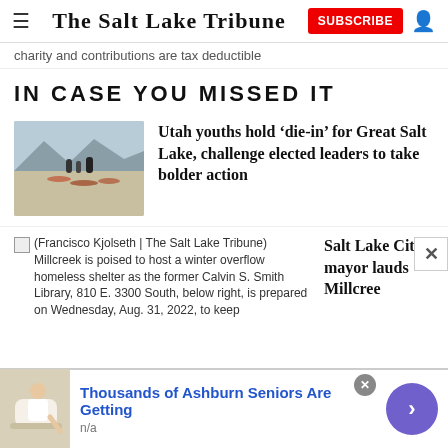The Salt Lake Tribune | SUBSCRIBE
charity and contributions are tax deductible
IN CASE YOU MISSED IT
[Figure (photo): Photo of people lying on dry salt lake bed with gravestones, mountains in background]
Utah youths hold ‘die-in’ for Great Salt Lake, challenge elected leaders to take bolder action
[Figure (photo): Broken image placeholder with caption: (Francisco Kjolseth | The Salt Lake Tribune) Millcreek is poised to host a winter overflow homeless shelter as the former Calvin S. Smith Library, 810 E. 3300 South, below right, is prepared on Wednesday, Aug. 31, 2022, to keep]
Salt Lake City mayor lauds Millcre…
[Figure (photo): Advertisement: Thousands of Ashburn Seniors Are Getting - n/a]